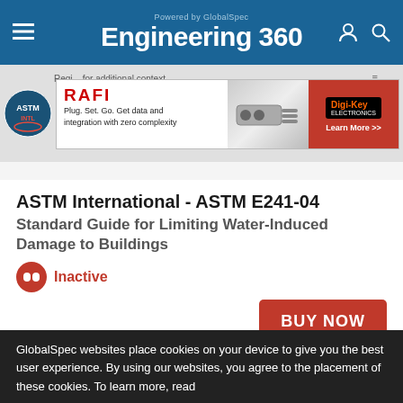Powered by GlobalSpec Engineering 360
[Figure (screenshot): Engineering 360 website header with blue background, hamburger menu icon on left, 'Powered by GlobalSpec' text above 'Engineering 360' logo in white, user and search icons on right]
[Figure (screenshot): RAFI advertisement banner: 'Plug. Set. Go. Get data and integration with zero complexity' with Digi-Key logo and 'Learn More >>' button in red]
ASTM International - ASTM E241-04
Standard Guide for Limiting Water-Induced Damage to Buildings
Inactive
BUY NOW
Details
History
Related Products
GlobalSpec websites place cookies on your device to give you the best user experience. By using our websites, you agree to the placement of these cookies. To learn more, read